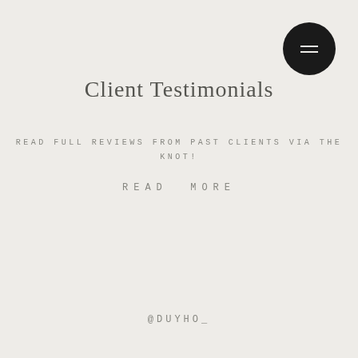[Figure (other): Dark circular menu button with two horizontal lines (hamburger icon) in the top right corner]
Client Testimonials
READ FULL REVIEWS FROM PAST CLIENTS VIA THE KNOT!
READ MORE
@DUYHO_